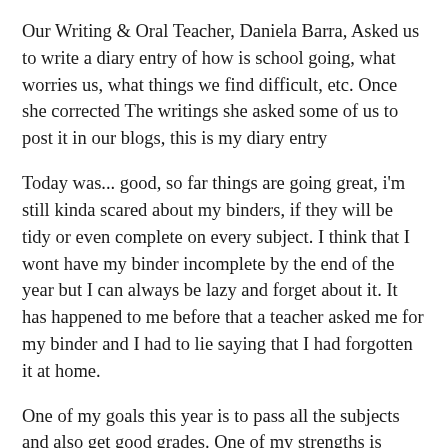Our Writing & Oral Teacher, Daniela Barra, Asked us to write a diary entry of how is school going, what worries us, what things we find difficult, etc. Once she corrected The writings she asked some of us to post it in our blogs, this is my diary entry
Today was... good, so far things are going great, i'm still kinda scared about my binders, if they will be tidy or even complete on every subject. I think that I wont have my binder incomplete by the end of the year but I can always be lazy and forget about it. It has happened to me before that a teacher asked me for my binder and I had to lie saying that I had forgotten it at home.
One of my goals this year is to pass all the subjects and also get good grades. One of my strengths is History Essays but my weaknesses are Literature Essays, they are so hard! But perhaps Ill get better while I grow up and learn more tips and also with practice.